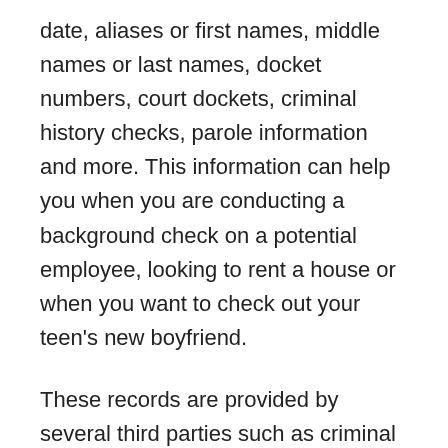date, aliases or first names, middle names or last names, docket numbers, court dockets, criminal history checks, parole information and more. This information can help you when you are conducting a background check on a potential employee, looking to rent a house or when you want to check out your teen's new boyfriend.
These records are provided by several third parties such as criminal courts, police departments or other designated investigative agencies. These agencies compile the data from many sources and allow for you to search this information from your computer. You can also access this information through certain online